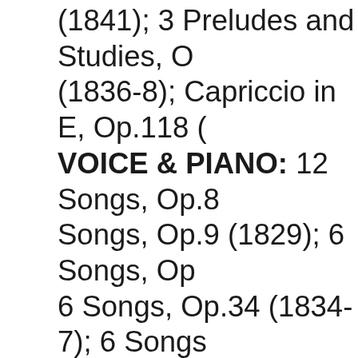(1841); 3 Preludes and Studies, O (1836-8); Capriccio in E, Op.118 ( VOICE & PIANO: 12 Songs, Op.8 Songs, Op.9 (1829); 6 Songs, Op 6 Songs, Op.34 (1834-7); 6 Songs (1839); 6 Songs, Op.57 (1839-42) Op.71 (1845-7); 3 Songs, Op.84 ( Songs, Op.86 (1826-47); 6 Songs (1841-5); 2 Sacred Songs, Op.112 PART-SONGS: 6 for SATB, Op.41